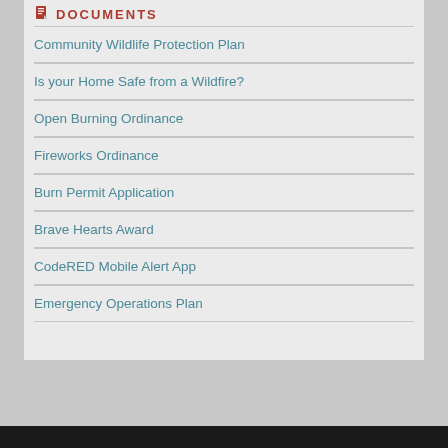DOCUMENTS
Community Wildlife Protection Plan
Is your Home Safe from a Wildfire?
Open Burning Ordinance
Fireworks Ordinance
Burn Permit Application
Brave Hearts Award
CodeRED Mobile Alert App
Emergency Operations Plan